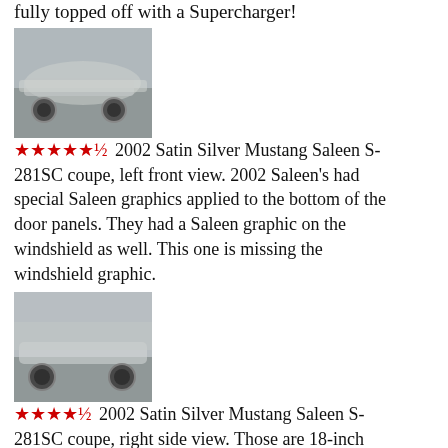fully topped off with a Supercharger!
[Figure (photo): 2002 Satin Silver Mustang Saleen S-281SC coupe, left front view, silver car on pavement]
★★★★★½ 2002 Satin Silver Mustang Saleen S-281SC coupe, left front view. 2002 Saleen's had special Saleen graphics applied to the bottom of the door panels. They had a Saleen graphic on the windshield as well. This one is missing the windshield graphic.
[Figure (photo): 2002 Satin Silver Mustang Saleen S-281SC coupe, right side view, silver car]
★★★★½ 2002 Satin Silver Mustang Saleen S-281SC coupe, right side view. Those are 18-inch wheels and tires!
[Figure (photo): 2002 Saleen body kit rear view of silver car with large spoiler]
★★★★★½ The 2002 Saleen body kit had a huge spoiler. It keeps the rain off the rear bumper.